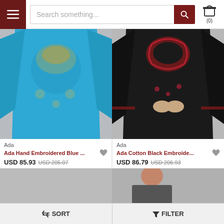Search something... (0)
[Figure (photo): Blue hand embroidered kurti worn by model, shown from neck to thighs on gray background]
Ada
Ada Hand Embroidered Blue ...
USD 85.93  USD 205.07
[Figure (photo): Black cotton embroidered kurti with red embroidery worn by model on gray background]
Ada
Ada Cotton Black Embroide...
USD 86.79  USD 206.93
[Figure (photo): Blue kurti with embroidery worn by smiling model, 77% OFF badge visible, Buy 1 Get 3 free banner]
[Figure (photo): Model wearing outfit, 58% OFF badge, Live Chat button, WhatsApp and scroll-up buttons visible]
SORT   FILTER